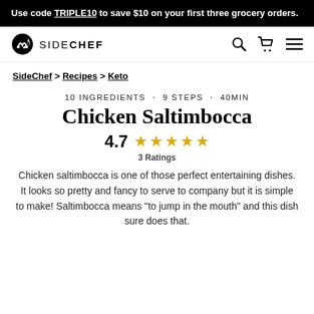Use code TRIPLE10 to save $10 on your first three grocery orders.
SIDECHEF
SideChef > Recipes > Keto
10 INGREDIENTS · 9 STEPS · 40MIN
Chicken Saltimbocca
4.7 ★★★★★ 3 Ratings
Chicken saltimbocca is one of those perfect entertaining dishes. It looks so pretty and fancy to serve to company but it is simple to make! Saltimbocca means "to jump in the mouth" and this dish sure does that.